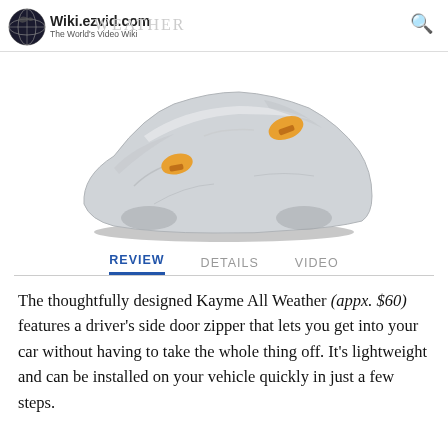Wiki.ezvid.com The World's Video Wiki   EXTREME WEATHER
[Figure (photo): A silver car cover draped over a car, with orange anchor straps visible at the side mirrors and door area, on a white background.]
REVIEW   DETAILS   VIDEO
The thoughtfully designed Kayme All Weather (appx. $60) features a driver's side door zipper that lets you get into your car without having to take the whole thing off. It's lightweight and can be installed on your vehicle quickly in just a few steps.